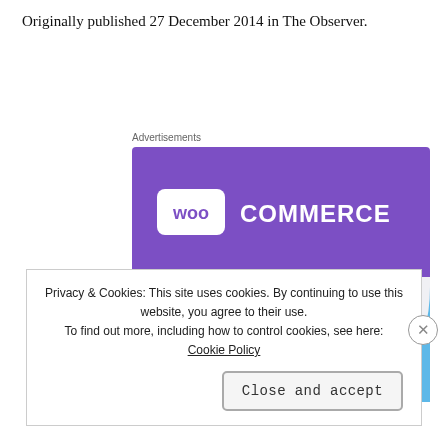Originally published 27 December 2014 in The Observer.
[Figure (screenshot): WooCommerce advertisement banner showing the WooCommerce logo on a purple background with teal and blue geometric shapes, and the text 'How to start selling subscriptions online']
Privacy & Cookies: This site uses cookies. By continuing to use this website, you agree to their use.
To find out more, including how to control cookies, see here:
Cookie Policy
Close and accept